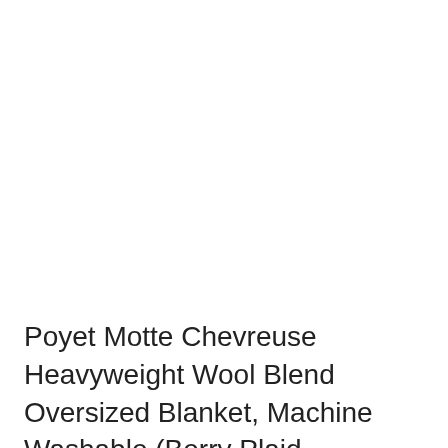Poyet Motte Chevreuse Heavyweight Wool Blend Oversized Blanket, Machine Washable (Berry Plaid, Full/Queen Size)